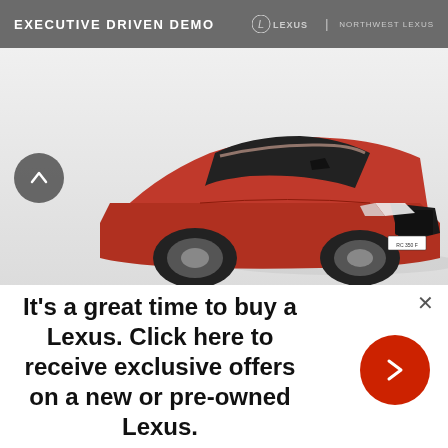[Figure (photo): Advertisement for Northwest Lexus Executive Driven Demo program showing a red Lexus RC coupe sports car on a white studio background with a grey header bar reading 'EXECUTIVE DRIVEN DEMO' and the Lexus / Northwest Lexus logo on the right.]
It's a great time to buy a Lexus. Click here to receive exclusive offers on a new or pre-owned Lexus.